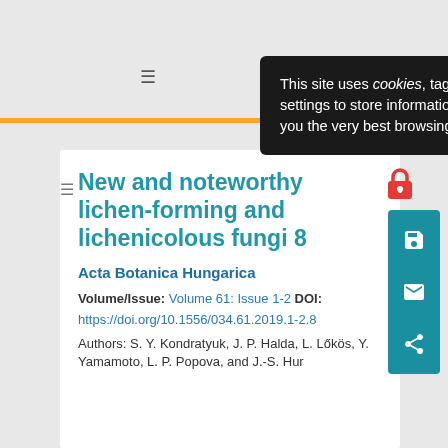[Figure (screenshot): Cookie consent popup overlay on a website, dark background with white text reading: This site uses cookies, tags, and tracking settings to store information that help give you the very best browsing experience. An X close button in top right.]
New and noteworthy lichen-forming and lichenicolous fungi 8
Acta Botanica Hungarica
Volume/Issue: Volume 61: Issue 1-2 DOI:
https://doi.org/10.1556/034.61.2019.1-2.8
Authors: S. Y. Kondratyuk, J. P. Halda, L. Lőkös, Y. Yamamoto, L. P. Popova, and J.-S. Hur